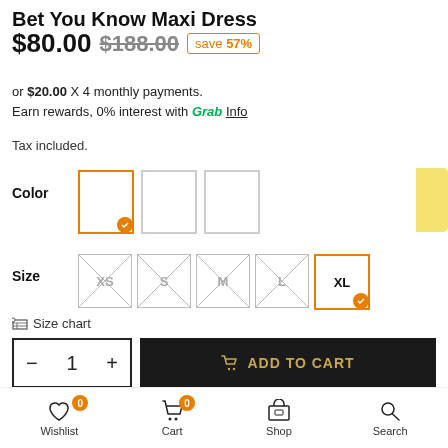Bet You Know Maxi Dress
$80.00  $188.00  save 57%
or $20.00 X 4 monthly payments.
Earn rewards, 0% interest with Grab Info
Tax included.
Color
[Figure (other): Color swatches: three square color options, first selected with orange border and check, two others with grey borders]
Size
[Figure (other): Size options: XS, S, M, L (crossed out/unavailable), XL selected with orange border and check]
Size chart
1  ADD TO CART
BUY IT NOW
Wishlist  Cart  Shop  Search